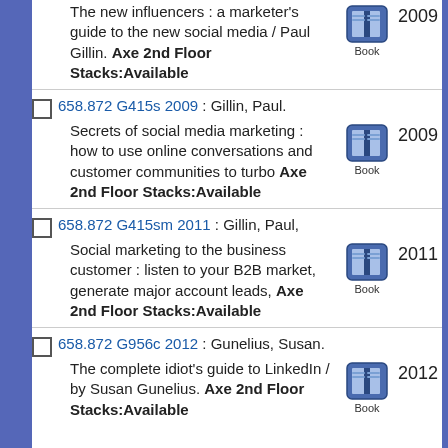658.872 G415s 2009 : Gillin, Paul. Secrets of social media marketing : how to use online conversations and customer communities to turbo Axe 2nd Floor Stacks:Available 2009 Book
658.872 G415sm 2011 : Gillin, Paul, Social marketing to the business customer : listen to your B2B market, generate major account leads, Axe 2nd Floor Stacks:Available 2011 Book
658.872 G956c 2012 : Gunelius, Susan. The complete idiot's guide to LinkedIn / by Susan Gunelius. Axe 2nd Floor Stacks:Available 2012 Book